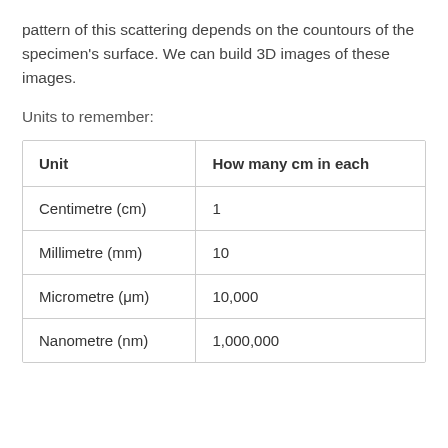pattern of this scattering depends on the countours of the specimen's surface. We can build 3D images of these images.
Units to remember:
| Unit | How many cm in each |
| --- | --- |
| Centimetre (cm) | 1 |
| Millimetre (mm) | 10 |
| Micrometre (μm) | 10,000 |
| Nanometre (nm) | 1,000,000 |